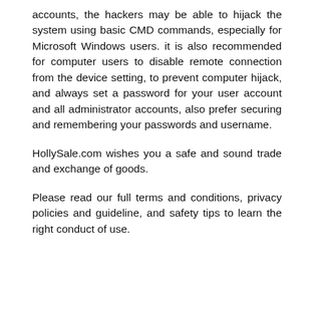accounts, the hackers may be able to hijack the system using basic CMD commands, especially for Microsoft Windows users. it is also recommended for computer users to disable remote connection from the device setting, to prevent computer hijack, and always set a password for your user account and all administrator accounts, also prefer securing and remembering your passwords and username.
HollySale.com wishes you a safe and sound trade and exchange of goods.
Please read our full terms and conditions, privacy policies and guideline, and safety tips to learn the right conduct of use.